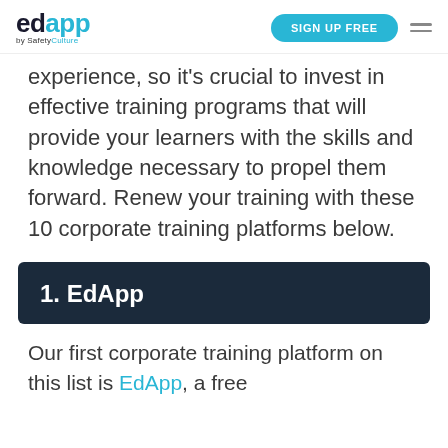edapp by SafetyCulture | SIGN UP FREE
experience, so it's crucial to invest in effective training programs that will provide your learners with the skills and knowledge necessary to propel them forward. Renew your training with these 10 corporate training platforms below.
1. EdApp
Our first corporate training platform on this list is EdApp, a free